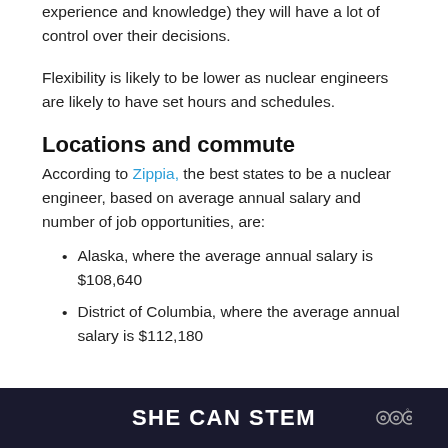experience and knowledge) they will have a lot of control over their decisions.
Flexibility is likely to be lower as nuclear engineers are likely to have set hours and schedules.
Locations and commute
According to Zippia, the best states to be a nuclear engineer, based on average annual salary and number of job opportunities, are:
Alaska, where the average annual salary is $108,640
District of Columbia, where the average annual salary is $112,180
SHE CAN STEM